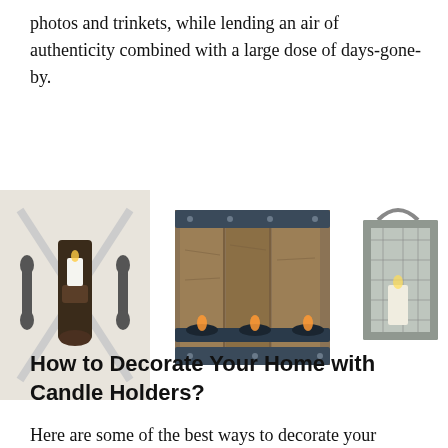photos and trinkets, while lending an air of authenticity combined with a large dose of days-gone-by.
[Figure (photo): Three rustic candle holder products: a wall-mounted sconce on a barn door, a wooden wall-mounted triple tealight holder with metal frame, and a metal lantern with chicken wire sides.]
How to Decorate Your Home with Candle Holders?
Here are some of the best ways to decorate your